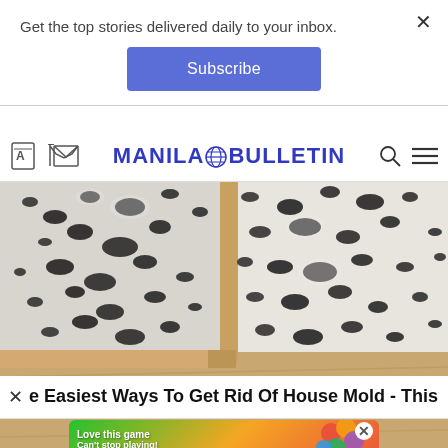Get the top stories delivered daily to your inbox.
Subscribe
[Figure (screenshot): Manila Bulletin website navigation bar with translate icon, email icon, Manila Bulletin logo with globe, search icon, and hamburger menu icon]
[Figure (photo): Photo of black mold growing on white walls in the corner of a room with wooden baseboard and wood floor]
e Easiest Ways To Get Rid Of House Mold - This
[Figure (screenshot): Mobile game advertisement banner with text 'Love this game Can't stop playing! Download Now' and 'Bubble Shooter Animal World' with colorful bubble graphics]